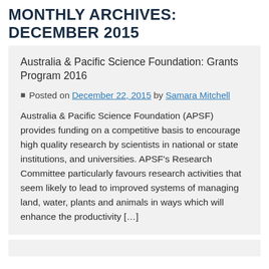MONTHLY ARCHIVES: DECEMBER 2015
Australia & Pacific Science Foundation: Grants Program 2016
Posted on December 22, 2015 by Samara Mitchell
Australia & Pacific Science Foundation (APSF) provides funding on a competitive basis to encourage high quality research by scientists in national or state institutions, and universities. APSF's Research Committee particularly favours research activities that seem likely to lead to improved systems of managing land, water, plants and animals in ways which will enhance the productivity [...]